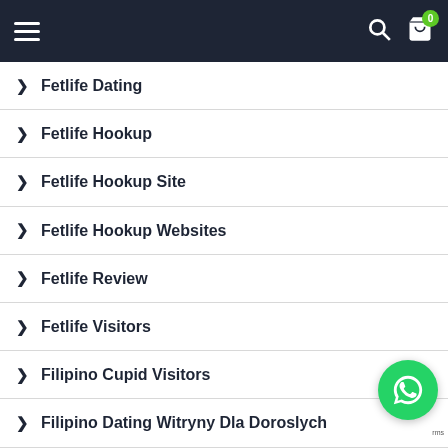Navigation header with hamburger menu, search icon, and cart (0)
Fetlife Dating
Fetlife Hookup
Fetlife Hookup Site
Fetlife Hookup Websites
Fetlife Review
Fetlife Visitors
Filipino Cupid Visitors
Filipino Dating Witryny Dla Doroslych
Filipino-Cupid-Overzicht Beoordelingen